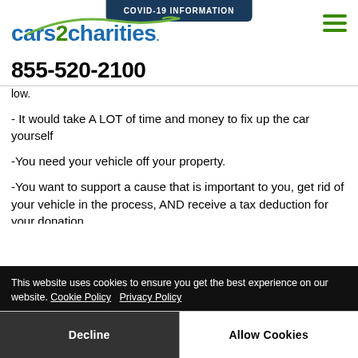[Figure (logo): cars2charities logo with green car swish above blue text, green '2' numeral]
COVID-19 INFORMATION
855-520-2100
low.
- It would take A LOT of time and money to fix up the car yourself
-You need your vehicle off your property.
-You want to support a cause that is important to you, get rid of your vehicle in the process, AND receive a tax deduction for your donation.
Donating your vehicle to charity is a generous act of kindness. That's why we give you the freedom to choose where your donation goes. After we convert your car donation into monetary...
This website uses cookies to ensure you get the best experience on our website. Cookie Policy   Privacy Policy
Decline
Allow Cookies